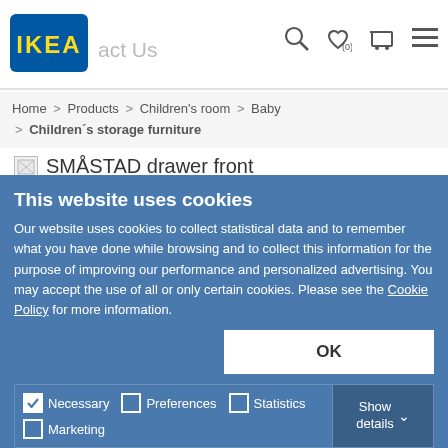[Figure (logo): IKEA logo — blue rectangle with yellow IKEA text]
act Us
Home > Products > Children's room > Baby > Children´s storage furniture
[Figure (photo): SMÅSTAD drawer front product image (broken/loading)]
SMÅSTAD drawer front
Story
Quantity:
1
This website uses cookies
Our website uses cookies to collect statistical data and to remember what you have done while browsing and to collect this information for the purpose of improving our performance and personalized advertising. You may accept the use of all or only certain cookies. Please see the Cookie Policy for more information.
OK
Necessary  Preferences  Statistics  Marketing  Show details